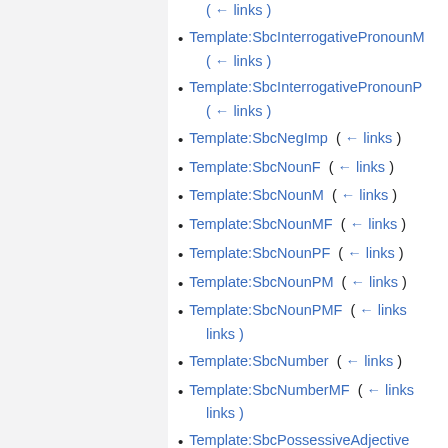( ← links )
Template:SbcInterrogativePronounM ( ← links )
Template:SbcInterrogativePronounP ( ← links )
Template:SbcNegImp ( ← links )
Template:SbcNounF ( ← links )
Template:SbcNounM ( ← links )
Template:SbcNounMF ( ← links )
Template:SbcNounPF ( ← links )
Template:SbcNounPM ( ← links )
Template:SbcNounPMF ( ← links )
Template:SbcNumber ( ← links )
Template:SbcNumberMF ( ← links )
Template:SbcPossessiveAdjective ( ← links )
Template:SbcPossessiveAdjectiveM ( ← links )